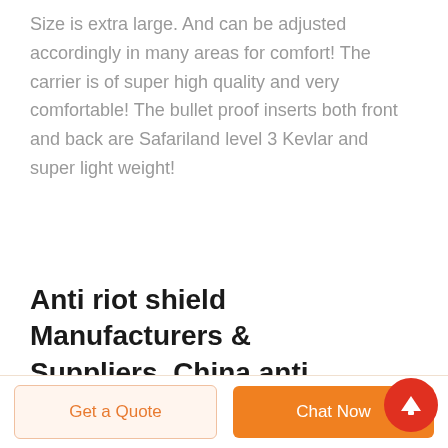Size is extra large. And can be adjusted accordingly in many areas for comfort! The carrier is of super high quality and very comfortable! The bullet proof inserts both front and back are Safariland level 3 Kevlar and super light weight!
Anti riot shield Manufacturers & Suppliers, China anti ...
Get a Quote | Chat Now